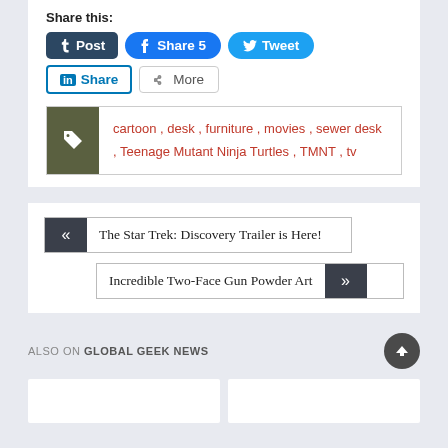Share this:
[Figure (screenshot): Social share buttons: Post (Tumblr), Share 5 (Facebook), Tweet (Twitter), Share (LinkedIn), More]
cartoon , desk , furniture , movies , sewer desk , Teenage Mutant Ninja Turtles , TMNT , tv
« The Star Trek: Discovery Trailer is Here!
Incredible Two-Face Gun Powder Art »
ALSO ON GLOBAL GEEK NEWS